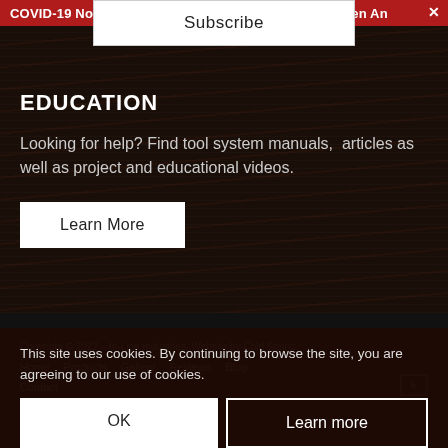COVID-19 Notification: In-Line Industries Remains Open An
Subscribe
EDUCATION
Looking for help? Find tool system manuals,  articles as well as project and educational videos.
Learn More
Copyright © 2022 – In-Line Industries. Website by Cold Spring
Home   Products   Gallery   Reviews   Blog   Contact
This site uses cookies. By continuing to browse the site, you are agreeing to our use of cookies.
OK
Learn more